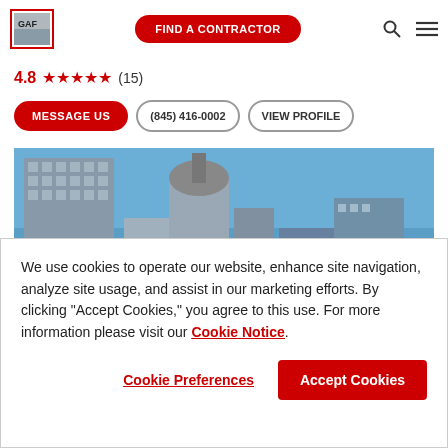GAF | FIND A CONTRACTOR
4.8 ★★★★★ (15)
MESSAGE US | (845) 416-0002 | VIEW PROFILE
[Figure (photo): City skyline photo with tall buildings and blue sky]
We use cookies to operate our website, enhance site navigation, analyze site usage, and assist in our marketing efforts. By clicking "Accept Cookies," you agree to this use. For more information please visit our Cookie Notice.
Cookie Preferences | Accept Cookies